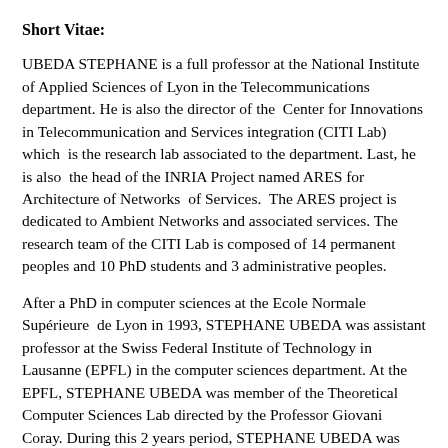Short Vitae:
UBEDA STEPHANE is a full professor at the National Institute of Applied Sciences of Lyon in the Telecommunications department. He is also the director of the Center for Innovations in Telecommunication and Services integration (CITI Lab) which is the research lab associated to the department. Last, he is also the head of the INRIA Project named ARES for Architecture of Networks of Services. The ARES project is dedicated to Ambient Networks and associated services. The research team of the CITI Lab is composed of 14 permanent peoples and 10 PhD students and 3 administrative peoples.
After a PhD in computer sciences at the Ecole Normale Supérieure de Lyon in 1993, STEPHANE UBEDA was assistant professor at the Swiss Federal Institute of Technology in Lausanne (EPFL) in the computer sciences department. At the EPFL, STEPHANE UBEDA was member of the Theoretical Computer Sciences Lab directed by the Professor Giovani Coray. During this 2 years period, STEPHANE UBEDA was working on parallel algorithms and high performance computing.
In 1995, STEPHANE UBEDA became associated professor in the Jean-Monnet University and member of the LIP Lab in the Ecole